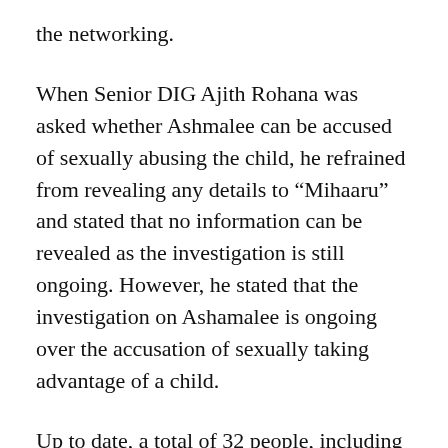the networking.
When Senior DIG Ajith Rohana was asked whether Ashmalee can be accused of sexually abusing the child, he refrained from revealing any details to “Mihaaru” and stated that no information can be revealed as the investigation is still ongoing. However, he stated that the investigation on Ashamalee is ongoing over the accusation of sexually taking advantage of a child.
Up to date, a total of 32 people, including the child’s mother, have been arrested over different accusations of being involved in the